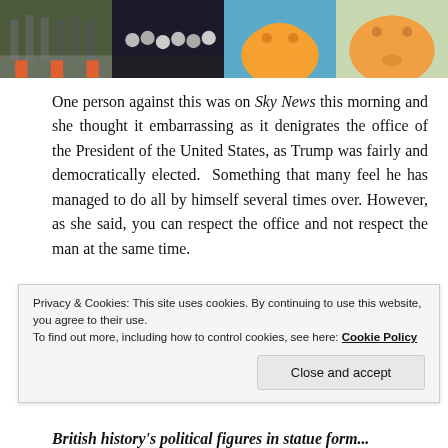[Figure (photo): Strip of four photos at top: scaffolding/barriers at an event, crowd of people, orange balloon (Trump baby blimp), orange pig-shaped balloon]
One person against this was on Sky News this morning and she thought it embarrassing as it denigrates the office of the President of the United States, as Trump was fairly and democratically elected. Something that many feel he has managed to do all by himself several times over. However, as she said, you can respect the office and not respect the man at the same time.
[Figure (photo): Strip of four photos showing Trump baby blimp balloon from various angles]
Privacy & Cookies: This site uses cookies. By continuing to use this website, you agree to their use.
To find out more, including how to control cookies, see here: Cookie Policy
Close and accept
British history's political figures in statue form...